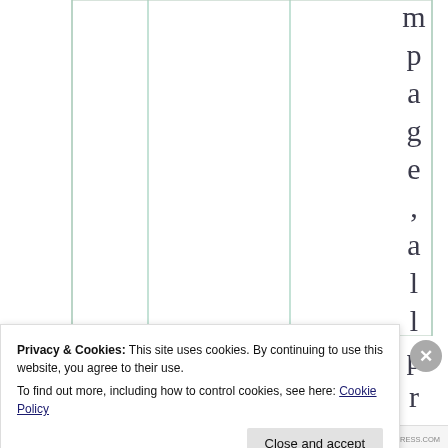|  |  |  |  |  | p |
|  |  |  |  |  | a |
|  |  |  |  |  | g |
|  |  |  |  |  | e |
|  |  |  |  |  | , |
|  |  |  |  |  | a |
|  |  |  |  |  | l |
|  |  |  |  |  | l |
|  |  |  |  |  | p |
|  |  |  |  |  | r |
Privacy & Cookies: This site uses cookies. By continuing to use this website, you agree to their use.
To find out more, including how to control cookies, see here: Cookie Policy
Close and accept